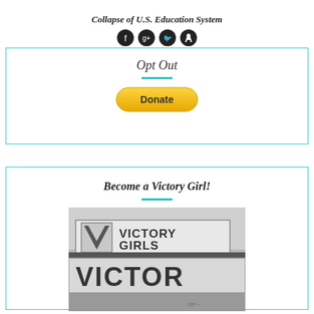Collapse of U.S. Education System
[Figure (other): Social media icons: Facebook, Google+, Twitter, Pinterest]
Opt Out
[Figure (other): PayPal Donate button]
Become a Victory Girl!
[Figure (photo): Black and white photo of a Victory Girls storefront sign showing the text VICTORY GIRLS and VICTOR]